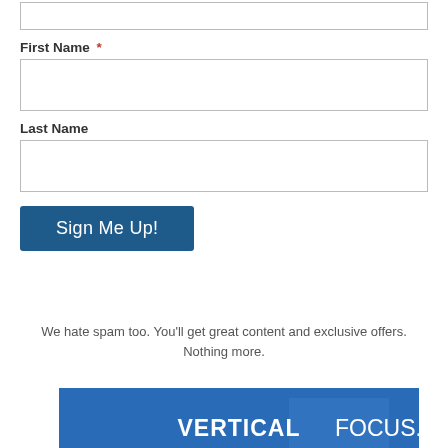First Name *
Last Name
Sign Me Up!
We hate spam too. You'll get great content and exclusive offers. Nothing more.
[Figure (infographic): Advertisement banner with blue background and yellow stripe at bottom. Text reads: VERTICAL FOCUS. GLOBAL REACH. with a white circle button saying LEARN MORE.]